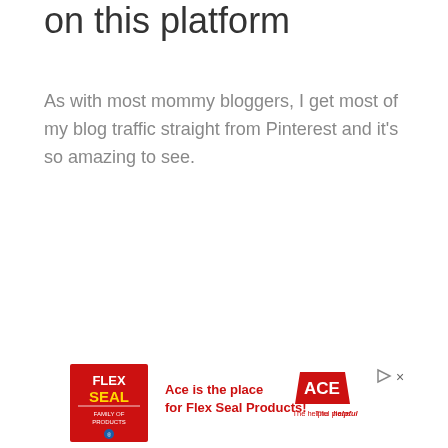on this platform
As with most mommy bloggers, I get most of my blog traffic straight from Pinterest and it's so amazing to see.
[Figure (other): Advertisement banner for Ace Hardware / Flex Seal Products featuring Flex Seal red logo on left, text 'Ace is the place for Flex Seal Products!' in red center, and ACE Hardware red logo on right with play and close controls.]